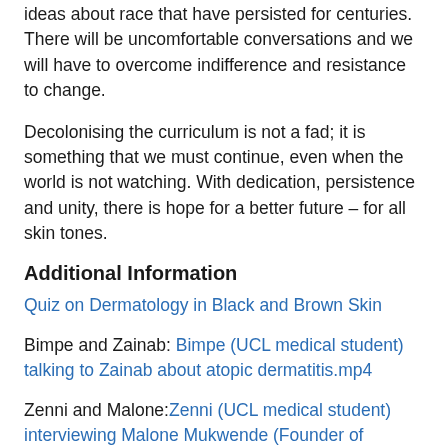ideas about race that have persisted for centuries. There will be uncomfortable conversations and we will have to overcome indifference and resistance to change.
Decolonising the curriculum is not a fad; it is something that we must continue, even when the world is not watching. With dedication, persistence and unity, there is hope for a better future – for all skin tones.
Additional Information
Quiz on Dermatology in Black and Brown Skin
Bimpe and Zainab: Bimpe (UCL medical student) talking to Zainab about atopic dermatitis.mp4
Zenni and Malone: Zenni (UCL medical student) interviewing Malone Mukwende (Founder of